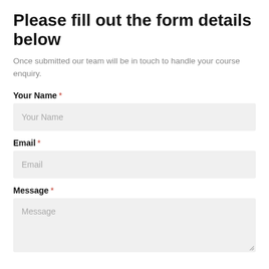Please fill out the form details below
Once submitted our team will be in touch to handle your course enquiry.
Your Name *
Your Name (placeholder)
Email *
Email (placeholder)
Message *
Message (placeholder)